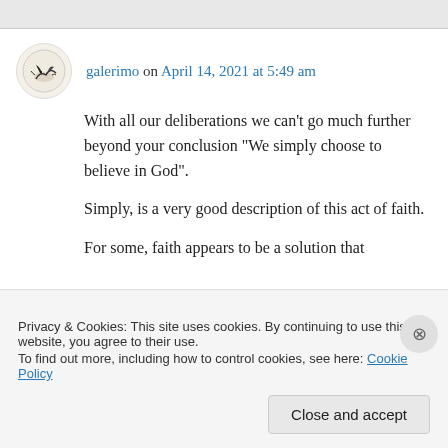galerimo on April 14, 2021 at 5:49 am
With all our deliberations we can't go much further beyond your conclusion “We simply choose to believe in God”.
Simply, is a very good description of this act of faith.
For some, faith appears to be a solution that
Privacy & Cookies: This site uses cookies. By continuing to use this website, you agree to their use.
To find out more, including how to control cookies, see here: Cookie Policy